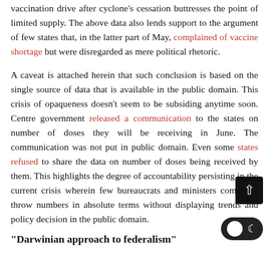vaccination drive after cyclone's cessation buttresses the point of limited supply. The above data also lends support to the argument of few states that, in the latter part of May, complained of vaccine shortage but were disregarded as mere political rhetoric.
A caveat is attached herein that such conclusion is based on the single source of data that is available in the public domain. This crisis of opaqueness doesn't seem to be subsiding anytime soon. Centre government released a communication to the states on number of doses they will be receiving in June. The communication was not put in public domain. Even some states refused to share the data on number of doses being received by them. This highlights the degree of accountability persisting in the current crisis wherein few bureaucrats and ministers come and throw numbers in absolute terms without displaying trends and policy decision in the public domain.
"Darwinian approach to federalism"